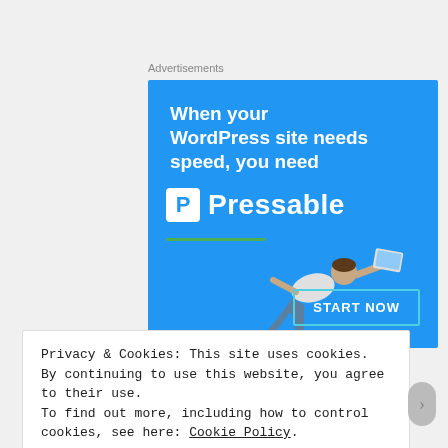Advertisements
[Figure (advertisement): Pressable WordPress hosting advertisement on a blue background. Text reads: 'When your WordPress site needs speed, you need Pressable'. Features a person flying horizontally holding a laptop, a green underline, and a 'START NOW' button with teal border.]
Privacy & Cookies: This site uses cookies. By continuing to use this website, you agree to their use.
To find out more, including how to control cookies, see here: Cookie Policy
Close and accept